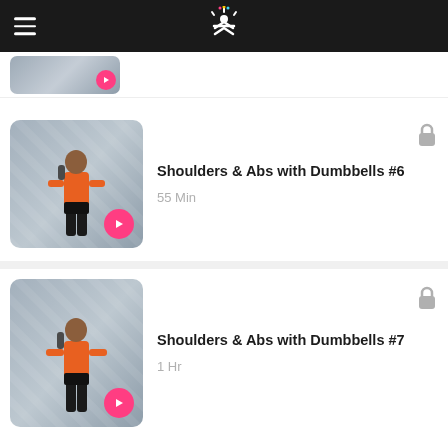Fitness App Navigation Header
[Figure (screenshot): Partially visible workout thumbnail at top of list]
Shoulders & Abs with Dumbbells #6
55 Min
[Figure (photo): Man in orange shirt doing dumbbell lateral raise exercise, blue-grey background with play button]
Shoulders & Abs with Dumbbells #7
1 Hr
[Figure (photo): Man in orange shirt doing dumbbell lateral raise exercise, blue-grey background with play button]